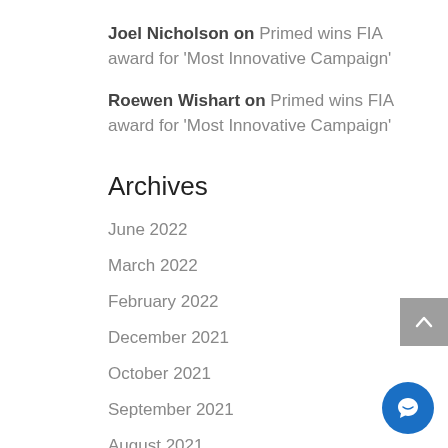Joel Nicholson on Primed wins FIA award for 'Most Innovative Campaign'
Roewen Wishart on Primed wins FIA award for 'Most Innovative Campaign'
Archives
June 2022
March 2022
February 2022
December 2021
October 2021
September 2021
August 2021
July 2021